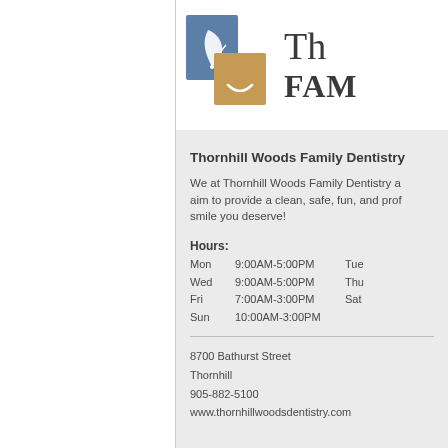[Figure (logo): Thornhill Woods Family Dentistry logo with blue and tan/gold square icons and text 'The FAMILY']
Thornhill Woods Family Dentistry
We at Thornhill Woods Family Dentistry aim to provide a clean, safe, fun, and professional environment to give you the smile you deserve!
Hours:
Mon 9:00AM-5:00PM  Tue
Wed 9:00AM-5:00PM  Thu
Fri 7:00AM-3:00PM   Sat
Sun 10:00AM-3:00PM
8700 Bathurst Street
Thornhill
905-882-5100
www.thornhillwoodsdentistry.com